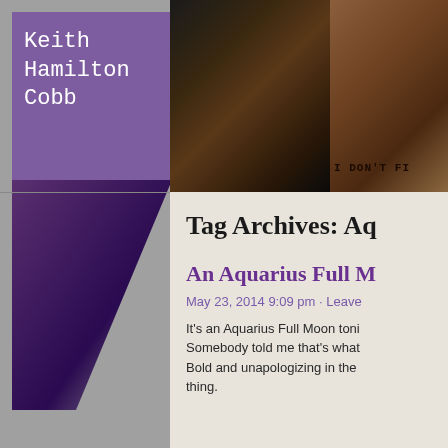Keith Hamilton Cobb
[Figure (photo): Close-up photo of a man's face (Keith Hamilton Cobb) against dark background]
[Figure (photo): Photo of wooden/leather object with text stamped 'I DON'T FI...']
Tag Archives: Aq...
An Aquarius Full M...
May 23, 2014 9:09 pm · Leave...
It's an Aquarius Full Moon toni... Somebody told me that's what... Bold and unapologizing in the... thing.